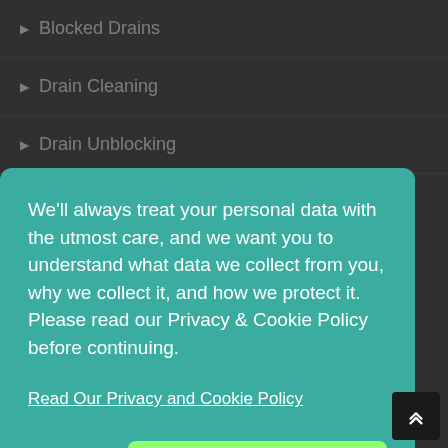▶ Blocked Drains
▶ Drain Cleaning
▶ Drain Unblocking
We'll always treat your personal data with the utmost care, and we want you to understand what data we collect from you, why we collect it, and how we protect it. Please read our Privacy & Cookie Policy before continuing.
Read Our Privacy and Cookie Policy
Decline
Accept